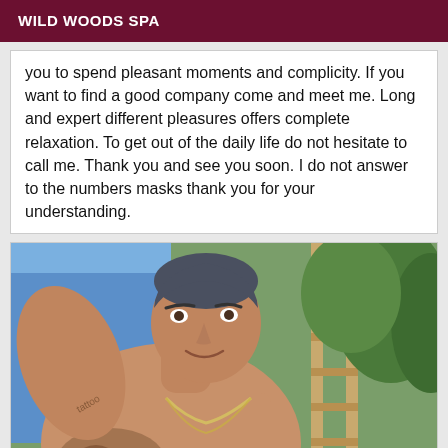WILD WOODS SPA
you to spend pleasant moments and complicity. If you want to find a good company come and meet me. Long and expert different pleasures offers complete relaxation. To get out of the daily life do not hesitate to call me. Thank you and see you soon. I do not answer to the numbers masks thank you for your understanding.
[Figure (photo): A shirtless man with tattoos and a silver chain necklace, with short dark hair, taking a selfie outdoors near a blue structure and a wooden ladder with green trees in the background. The image appears rotated sideways.]